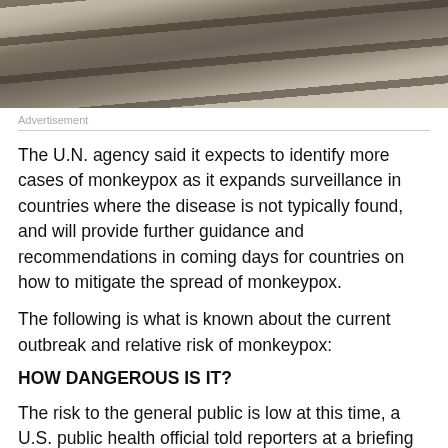[Figure (photo): Top portion of a photo showing what appears to be escalator or railway tracks from above, in muted brown and grey tones.]
Advertisement
The U.N. agency said it expects to identify more cases of monkeypox as it expands surveillance in countries where the disease is not typically found, and will provide further guidance and recommendations in coming days for countries on how to mitigate the spread of monkeypox.
The following is what is known about the current outbreak and relative risk of monkeypox:
HOW DANGEROUS IS IT?
The risk to the general public is low at this time, a U.S. public health official told reporters at a briefing on Friday.
Monkeypox is a virus that can cause symptoms including fever, rash, and lesions.